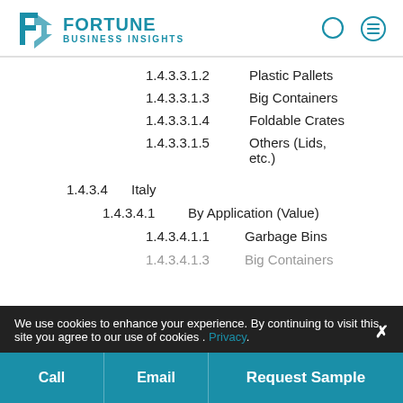Fortune Business Insights
1.4.3.3.1.2  Plastic Pallets
1.4.3.3.1.3  Big Containers
1.4.3.3.1.4  Foldable Crates
1.4.3.3.1.5  Others (Lids, etc.)
1.4.3.4  Italy
1.4.3.4.1  By Application (Value)
1.4.3.4.1.1  Garbage Bins
We use cookies to enhance your experience. By continuing to visit this site you agree to our use of cookies . Privacy.
1.4.3.4.1.3  Big Containers
Call  Email  Request Sample